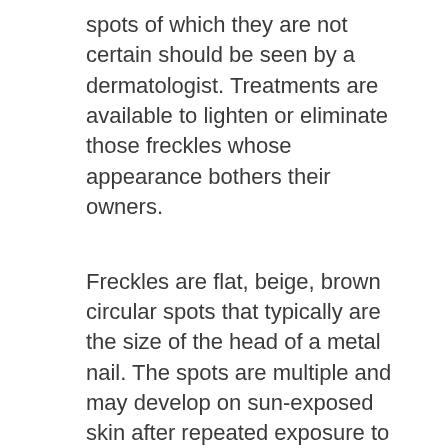spots of which they are not certain should be seen by a dermatologist. Treatments are available to lighten or eliminate those freckles whose appearance bothers their owners.
Freckles are flat, beige, brown circular spots that typically are the size of the head of a metal nail. The spots are multiple and may develop on sun-exposed skin after repeated exposure to sunlight. These are particularly common in people with red hair and a fair complexion. They may appear on children as young as 1 or 2 years of age.
Most freckles are generally uniform in color but can vary somewhat in color -- they may be reddish, yellow, tan, light brown, brown, or black -- but they are basically slightly darker than the surrounding skin. They may become darker and more apparent